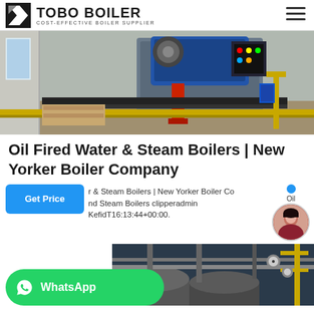TOBO BOILER COST-EFFECTIVE BOILER SUPPLIER
[Figure (photo): Industrial boiler room showing a large blue boiler unit mounted on a red stand with piping, control panels, and yellow pipe runs in a warehouse-style facility.]
Oil Fired Water & Steam Boilers | New Yorker Boiler Company
r & Steam Boilers | New Yorker Boiler Co Oil nd Steam Boilers clipperadmin KefidT16:13:44+00:00.
[Figure (photo): Industrial boiler piping and equipment close-up showing gauges, valves, yellow scaffolding and pipe infrastructure.]